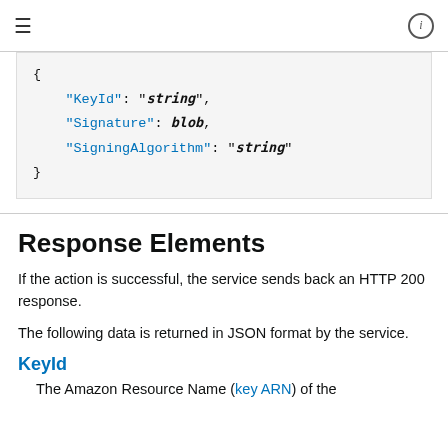≡  ⓘ
{
    "KeyId": "string",
    "Signature": blob,
    "SigningAlgorithm": "string"
}
Response Elements
If the action is successful, the service sends back an HTTP 200 response.
The following data is returned in JSON format by the service.
KeyId
The Amazon Resource Name (key ARN) of the